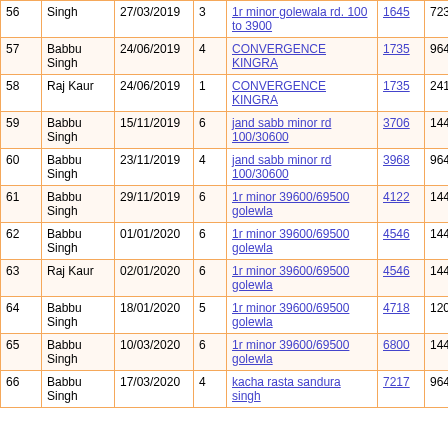| # | Name | Date | Col4 | Location | ID | Amount | Zero |
| --- | --- | --- | --- | --- | --- | --- | --- |
| 56 | Singh | 27/03/2019 | 3 | 1r minor golewala rd. 100 to 3900 | 1645 | 723 | 0 |
| 57 | Babbu Singh | 24/06/2019 | 4 | CONVERGENCE KINGRA | 1735 | 964 | 0 |
| 58 | Raj Kaur | 24/06/2019 | 1 | CONVERGENCE KINGRA | 1735 | 241 | 0 |
| 59 | Babbu Singh | 15/11/2019 | 6 | jand sabb minor rd 100/30600 | 3706 | 1446 | 0 |
| 60 | Babbu Singh | 23/11/2019 | 4 | jand sabb minor rd 100/30600 | 3968 | 964 | 0 |
| 61 | Babbu Singh | 29/11/2019 | 6 | 1r minor 39600/69500 golewla | 4122 | 1446 | 0 |
| 62 | Babbu Singh | 01/01/2020 | 6 | 1r minor 39600/69500 golewla | 4546 | 1446 | 0 |
| 63 | Raj Kaur | 02/01/2020 | 6 | 1r minor 39600/69500 golewla | 4546 | 1446 | 0 |
| 64 | Babbu Singh | 18/01/2020 | 5 | 1r minor 39600/69500 golewla | 4718 | 1205 | 0 |
| 65 | Babbu Singh | 10/03/2020 | 6 | 1r minor 39600/69500 golewla | 6800 | 1446 | 0 |
| 66 | Babbu Singh | 17/03/2020 | 4 | kacha rasta sandura singh | 7217 | 964 | 0 |